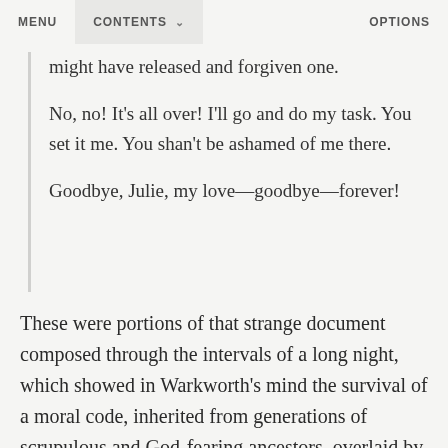MENU   CONTENTS   OPTIONS
might have released and forgiven one.
No, no! It’s all over! I’ll go and do my task. You set it me. You shan’t be ashamed of me there.
Goodbye, Julie, my love—goodbye—forever!
These were portions of that strange document composed through the intervals of a long night, which showed in Warkworth’s mind the survival of a moral code, inherited from generations of scrupulous and God-fearing ancestors, overlaid by selfish living, and now